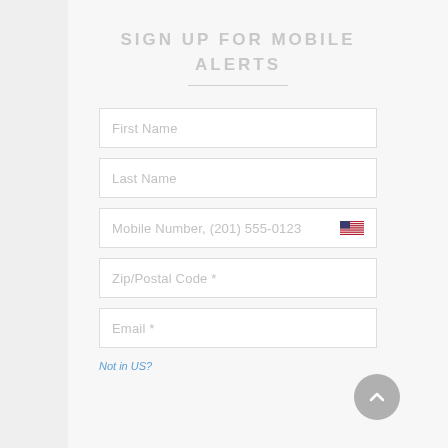SIGN UP FOR MOBILE ALERTS
First Name
Last Name
Mobile Number, (201) 555-0123
Zip/Postal Code *
Email *
Not in US?